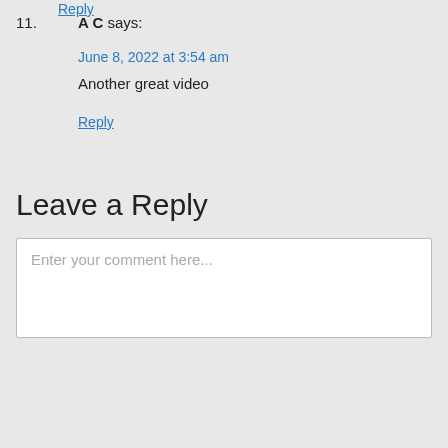Reply
11. A C says:
June 8, 2022 at 3:54 am
Another great video
Reply
Leave a Reply
Enter your comment here...